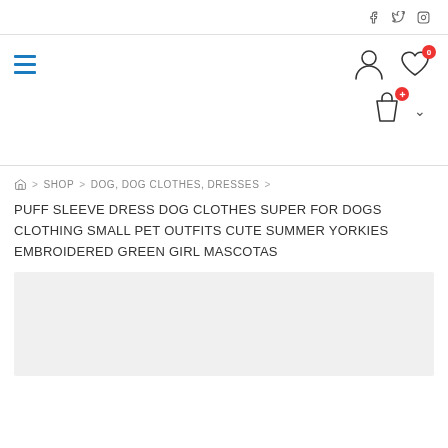Social icons: Facebook, Twitter, Instagram
[Figure (screenshot): Navigation bar with hamburger menu (blue three-line icon) on the left, and user account icon, heart/wishlist icon with badge '0', shopping bag icon, and a chevron down on the right]
HOME > SHOP > DOG, DOG CLOTHES, DRESSES >
PUFF SLEEVE DRESS DOG CLOTHES SUPER FOR DOGS CLOTHING SMALL PET OUTFITS CUTE SUMMER YORKIES EMBROIDERED GREEN GIRL MASCOTAS
[Figure (photo): Light gray placeholder product image area]